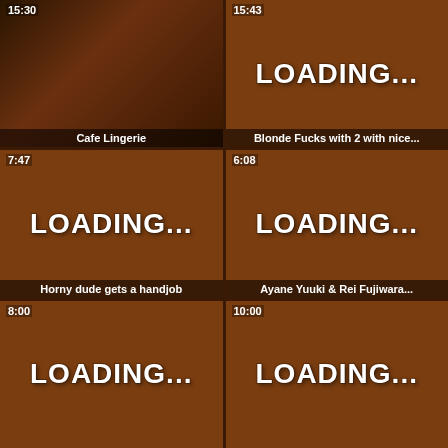[Figure (screenshot): Video thumbnail grid showing 6 video tiles, two columns, three rows. Top-left: photo of two women, duration 15:30, title 'Cafe Lingerie'. Top-right: brown loading tile, duration 15:43, title 'Blonde Fucks with 2 with nice...'. Middle-left: brown loading tile, duration 7:47, title 'Horny dude gets a handjob'. Middle-right: brown loading tile, duration 6:08, title 'Ayane Yuuki & Rei Fujiwara...'. Bottom-left: brown loading tile, duration 8:00. Bottom-right: brown loading tile, duration 10:00.]